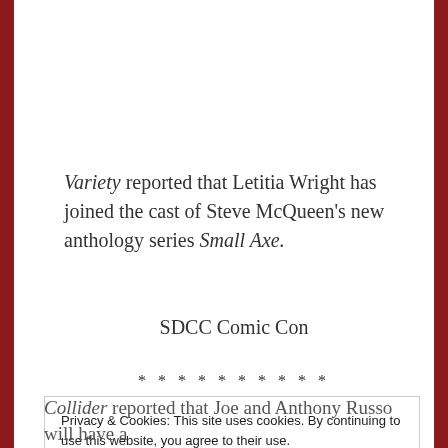Variety reported that Letitia Wright has joined the cast of Steve McQueen's new anthology series Small Axe.
SDCC Comic Con
* * * * * * * * * *
Privacy & Cookies: This site uses cookies. By continuing to use this website, you agree to their use. To find out more, including how to control cookies, see here: Cookie Policy
Close and accept
Collider reported that Joe and Anthony Russo will have a